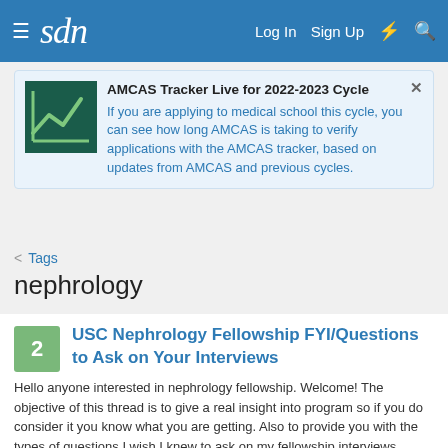sdn | Log In | Sign Up
AMCAS Tracker Live for 2022-2023 Cycle
If you are applying to medical school this cycle, you can see how long AMCAS is taking to verify applications with the AMCAS tracker, based on updates from AMCAS and previous cycles.
< Tags
nephrology
2
USC Nephrology Fellowship FYI/Questions to Ask on Your Interviews
Hello anyone interested in nephrology fellowship. Welcome! The objective of this thread is to give a real insight into program so if you do consider it you know what you are getting. Also to provide you with the types of questions I wish I knew to ask on my fellowship interviews. USC: Pros...
2020Zonal · Thread · Jul 12, 2020 · fellowship
fellowship application   fellowship interview   nephrology